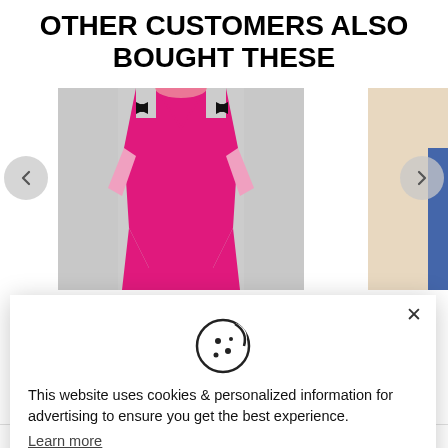OTHER CUSTOMERS ALSO BOUGHT THESE
[Figure (photo): Product image of a woman wearing a pink dress with black bow details at shoulders, shown against a light background]
[Figure (photo): Partial product image on the right side, beige/cream colored background with a partial garment visible]
This website uses cookies & personalized information for advertising to ensure you get the best experience.
Learn more
Leave this site
Decline
Accept
£49.00  £59.00  £95.00